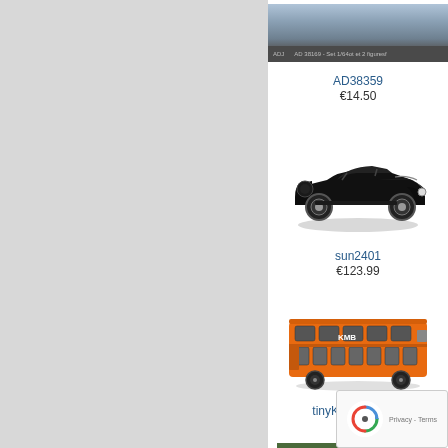[Figure (screenshot): Left gray panel — navigation or sidebar area]
[Figure (photo): Product image strip at top showing a figurine set (AD38359)]
AD38359
€14.50
[Figure (photo): Classic black vintage open-top sports car model (sun2401)]
sun2401
€123.99
[Figure (photo): Orange double-decker bus model (tinyKMB2021178)]
tinyKMB2021178
€18.99
[Figure (photo): Blue BMW saloon car partially visible at bottom]
[Figure (other): reCAPTCHA / Privacy - Terms overlay badge]